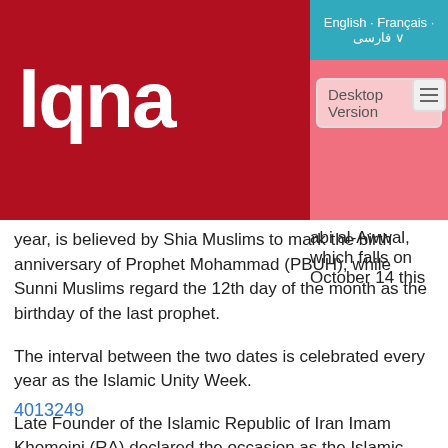[Figure (logo): LQNA news agency logo — white stylized letters on dark red background]
English · Français · فارسی ∨
Desktop Version
abi al-Awwal, which falls on October 14 this year, is believed by Shia Muslims to mark the birth anniversary of Prophet Mohammad (PBUH), while Sunni Muslims regard the 12th day of the month as the birthday of the last prophet.
The interval between the two dates is celebrated every year as the Islamic Unity Week.
Late Founder of the Islamic Republic of Iran Imam Khomeini (RA) declared the occasion as the Islamic Unity Week back in the 1980s.
4013249